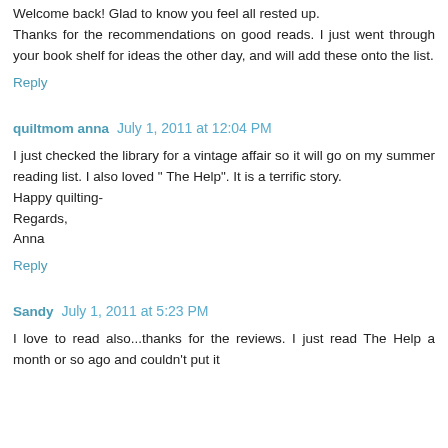Welcome back! Glad to know you feel all rested up. Thanks for the recommendations on good reads. I just went through your book shelf for ideas the other day, and will add these onto the list.
Reply
quiltmom anna  July 1, 2011 at 12:04 PM
I just checked the library for a vintage affair so it will go on my summer reading list. I also loved " The Help". It is a terrific story.
Happy quilting-
Regards,
Anna
Reply
Sandy  July 1, 2011 at 5:23 PM
I love to read also...thanks for the reviews. I just read The Help a month or so ago and couldn't put it